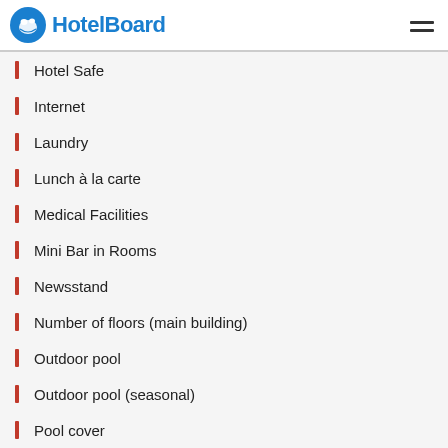HotelBoard
Hotel Safe
Internet
Laundry
Lunch à la carte
Medical Facilities
Mini Bar in Rooms
Newsstand
Number of floors (main building)
Outdoor pool
Outdoor pool (seasonal)
Pool cover
Restaraunt
Room Service
Shoeshine
Single rooms
Soundproof rooms
Tennis Court
Total number of rooms